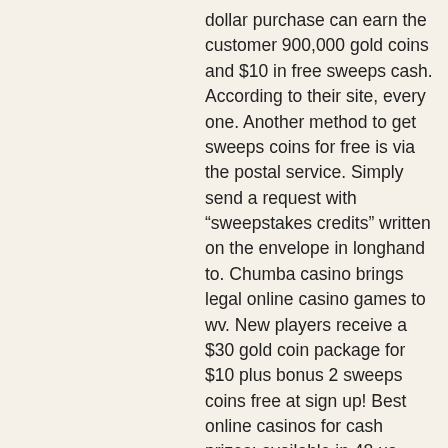dollar purchase can earn the customer 900,000 gold coins and $10 in free sweeps cash. According to their site, every one. Another method to get sweeps coins for free is via the postal service. Simply send a request with “sweepstakes credits” written on the envelope in longhand to. Chumba casino brings legal online casino games to wv. New players receive a $30 gold coin package for $10 plus bonus 2 sweeps coins free at sign up! Best online casinos for cash prizes: available in 48 us states, the best sweepstakes casino sites and promo codes to play slots for free. Chumba casino bonus: free sweeps coins. The chumba casino bonus presented is straightforward. You are given a portion of its two virtual currency offerings:. Play funzpoints for free or try our premium service for a chance to win real cash prizes! Ways to get sweepstake coins for free. One of the largest social casinos,